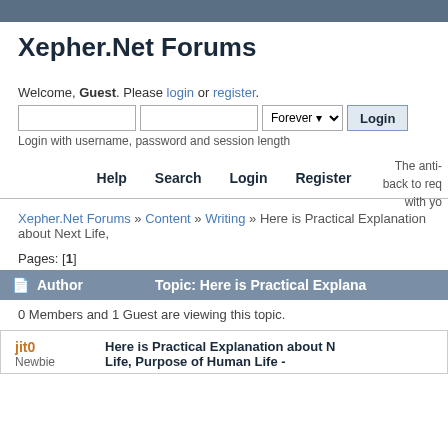Xepher.Net Forums
Welcome, Guest. Please login or register.
Login with username, password and session length
The anti- back to req with yo
Help  Search  Login  Register
Xepher.Net Forums » Content » Writing » Here is Practical Explanation about Next Life,
Pages: [1]
| Author | Topic: Here is Practical Explana |
| --- | --- |
0 Members and 1 Guest are viewing this topic.
jit0
Here is Practical Explanation about N Life, Purpose of Human Life -
Newbie